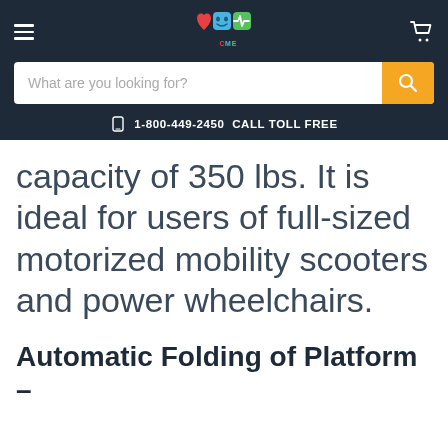≡  [logo]  🛒
What are you looking for?  [search]
1-800-449-2450  CALL TOLL FREE
capacity of 350 lbs. It is ideal for users of full-sized motorized mobility scooters and power wheelchairs.
Automatic Folding of Platform –